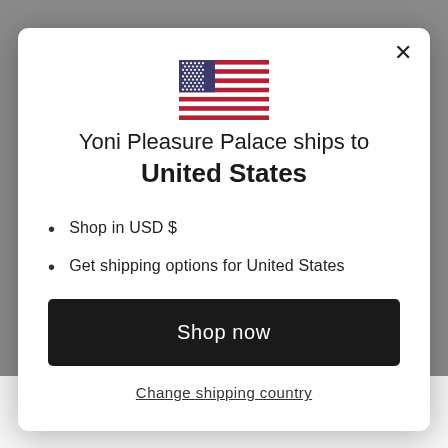[Figure (illustration): US flag SVG illustration inside modal dialog]
Yoni Pleasure Palace ships to United States
Shop in USD $
Get shipping options for United States
Shop now
Change shipping country
Drilled Nephrite Jade Egg — as pictured above. Click on the image to BUY your own certified, authentic jade egg